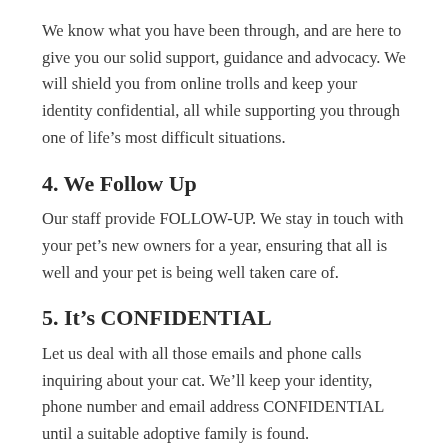We know what you have been through, and are here to give you our solid support, guidance and advocacy. We will shield you from online trolls and keep your identity confidential, all while supporting you through one of life's most difficult situations.
4. We Follow Up
Our staff provide FOLLOW-UP. We stay in touch with your pet's new owners for a year, ensuring that all is well and your pet is being well taken care of.
5. It's CONFIDENTIAL
Let us deal with all those emails and phone calls inquiring about your cat. We'll keep your identity, phone number and email address CONFIDENTIAL until a suitable adoptive family is found.